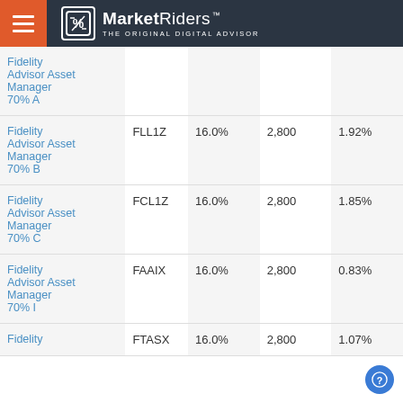MarketRiders — THE ORIGINAL DIGITAL ADVISOR
| Fund Name | Ticker | Allocation | Amount | Expense |
| --- | --- | --- | --- | --- |
| Fidelity Advisor Asset Manager 70% A |  |  |  |  |
| Fidelity Advisor Asset Manager 70% B | FLL1Z | 16.0% | 2,800 | 1.92% |
| Fidelity Advisor Asset Manager 70% C | FCL1Z | 16.0% | 2,800 | 1.85% |
| Fidelity Advisor Asset Manager 70% I | FAAIX | 16.0% | 2,800 | 0.83% |
| Fidelity | FTASX | 16.0% | 2,800 | 1.07% |